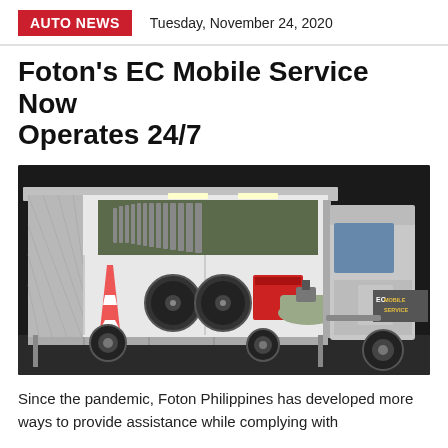AUTO NEWS   Tuesday, November 24, 2020
Foton's EC Mobile Service Now Operates 24/7
[Figure (photo): Foton EC Mobile Service truck with open cargo bay showing tools, orange traffic cone, fans, red equipment, and air compressor. The truck cab has 'EC MOBILE SERVICE' branding on the side.]
Since the pandemic, Foton Philippines has developed more ways to provide assistance while complying with